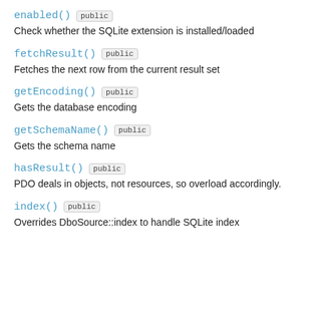enabled()  public
Check whether the SQLite extension is installed/loaded
fetchResult()  public
Fetches the next row from the current result set
getEncoding()  public
Gets the database encoding
getSchemaName()  public
Gets the schema name
hasResult()  public
PDO deals in objects, not resources, so overload accordingly.
index()  public
Overrides DboSource::index to handle SQLite index